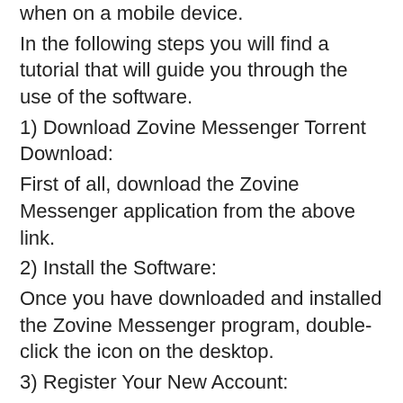when on a mobile device.
In the following steps you will find a tutorial that will guide you through the use of the software.
1) Download Zovine Messenger Torrent Download:
First of all, download the Zovine Messenger application from the above link.
2) Install the Software:
Once you have downloaded and installed the Zovine Messenger program, double-click the icon on the desktop.
3) Register Your New Account:
You will be asked to enter your user name and email address, followed by your desired password.
4) Choose the Interface:
After you have filled in the information to register your account, click on the "Yes" button.
5) Fill Your Info:
After you have filled in the information for